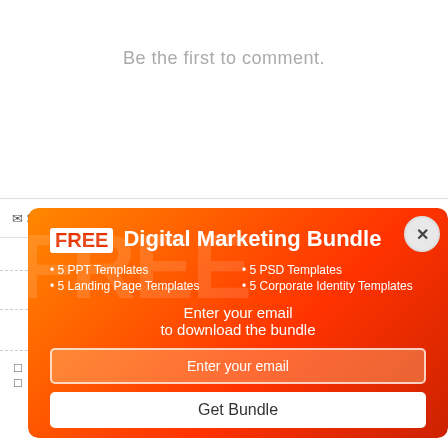Be the first to comment.
Subscribe  Add Disqus  Do Not Sell My D...   DISQUS
[Figure (screenshot): Popup modal with orange-red gradient background advertising 'FREE Digital Marketing Bundle' with bullet list of templates, email input field, and Get Bundle button. Has a close (X) button in top right corner.]